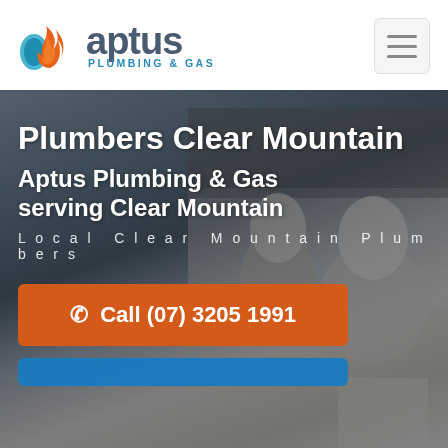[Figure (logo): Aptus Plumbing & Gas logo with flame/water droplet icon and company name]
[Figure (photo): Hamburger/menu icon button in top right corner]
[Figure (photo): Hero background photo showing a couple in a kitchen smiling at each other, with overlaid text and call-to-action buttons]
Plumbers Clear Mountain
Aptus Plumbing & Gas serving Clear Mountain
Local Clear Mountain Plumbers
Call (07) 3205 1991